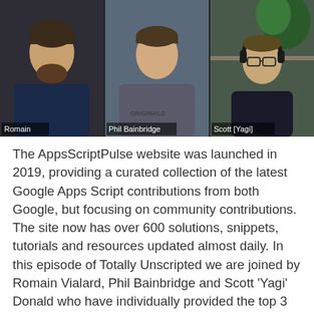[Figure (screenshot): Video call screenshot showing three participants in separate panels: Romain (left), Phil Bainbridge (center), and Scott [Yagi] (right) wearing headphones.]
The AppsScriptPulse website was launched in 2019, providing a curated collection of the latest Google Apps Script contributions from both Google, but focusing on community contributions. The site now has over 600 solutions, snippets, tutorials and resources updated almost daily. In this episode of Totally Unscripted we are joined by Romain Vialard, Phil Bainbridge and Scott 'Yagi' Donald who have individually provided the top 3 Pulse contributions for 2021.
We will discuss the solutions they have created which range from offline Apps Script development with VS Code/clasp to document automation to